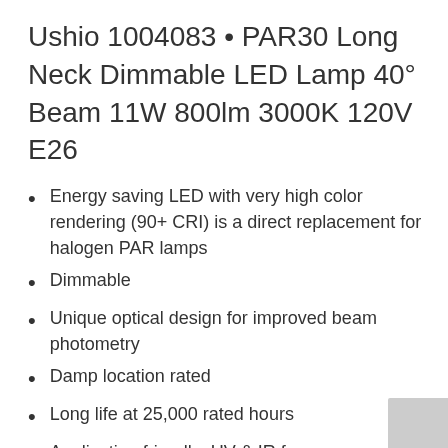Ushio 1004083 • PAR30 Long Neck Dimmable LED Lamp 40° Beam 11W 800lm 3000K 120V E26
Energy saving LED with very high color rendering (90+ CRI) is a direct replacement for halogen PAR lamps
Dimmable
Unique optical design for improved beam photometry
Damp location rated
Long life at 25,000 rated hours
Application friendly: UV & IR free